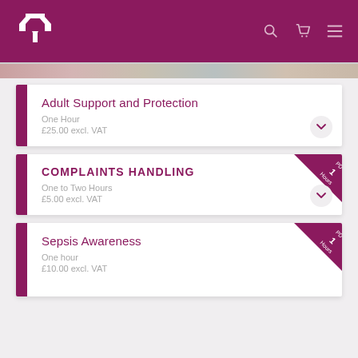Website header with logo and navigation icons
Adult Support and Protection
One Hour
£25.00 excl. VAT
COMPLAINTS HANDLING
One to Two Hours
£5.00 excl. VAT
Sepsis Awareness
One hour
£10.00 excl. VAT